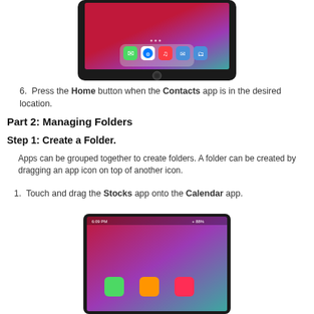[Figure (photo): iPad device showing home screen with colorful gradient wallpaper and app dock containing Messages, Safari, Music, Mail, and Files icons]
6. Press the Home button when the Contacts app is in the desired location.
Part 2: Managing Folders
Step 1: Create a Folder.
Apps can be grouped together to create folders. A folder can be created by dragging an app icon on top of another icon.
1. Touch and drag the Stocks app onto the Calendar app.
[Figure (screenshot): Partial screenshot of iPad showing home screen with apps during drag operation]